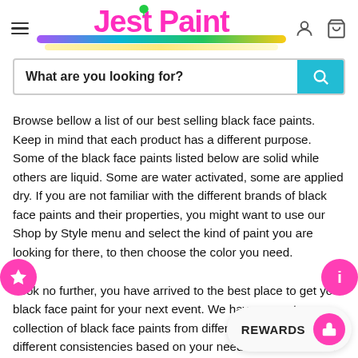Jest Paint - navigation header with hamburger menu, logo, user and cart icons
What are you looking for?
Browse bellow a list of our best selling black face paints. Keep in mind that each product has a different purpose. Some of the black face paints listed below are solid while others are liquid. Some are water activated, some are applied dry. If you are not familiar with the different brands of black face paints and their properties, you might want to use our Shop by Style menu and select the kind of paint you are looking for there, to then choose the color you need.
Look no further, you have arrived to the best place to get your black face paint for your next event. We have a great collection of black face paints from different brands and with different consistencies based on your needs. We have water pro and water activated black face paint.